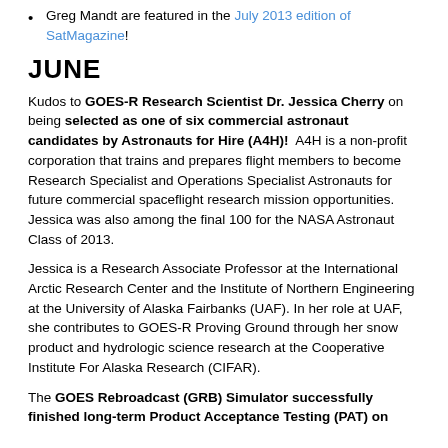Greg Mandt are featured in the July 2013 edition of SatMagazine!
JUNE
Kudos to GOES-R Research Scientist Dr. Jessica Cherry on being selected as one of six commercial astronaut candidates by Astronauts for Hire (A4H)!  A4H is a non-profit corporation that trains and prepares flight members to become Research Specialist and Operations Specialist Astronauts for future commercial spaceflight research mission opportunities. Jessica was also among the final 100 for the NASA Astronaut Class of 2013.
Jessica is a Research Associate Professor at the International Arctic Research Center and the Institute of Northern Engineering at the University of Alaska Fairbanks (UAF). In her role at UAF, she contributes to GOES-R Proving Ground through her snow product and hydrologic science research at the Cooperative Institute For Alaska Research (CIFAR).
The GOES Rebroadcast (GRB) Simulator successfully finished long-term Product Acceptance Testing (PAT) on